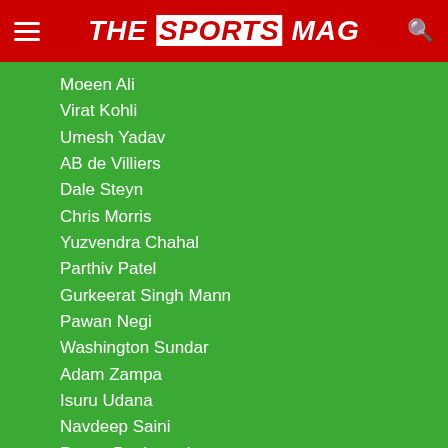THE SPORTS MAG
Moeen Ali
Virat Kohli
Umesh Yadav
AB de Villiers
Dale Steyn
Chris Morris
Yuzvendra Chahal
Parthiv Patel
Gurkeerat Singh Mann
Pawan Negi
Washington Sundar
Adam Zampa
Isuru Udana
Navdeep Saini
Pavan Deshpande
Shivam Dubey
Mohammed Siraj
Devdutt Padikkal
Josh Philippe
Shahbaz Ahmed
DREAM 11 IPL 2020
Dream11 IPL 2020 will kickoff on September 19, 2020 in